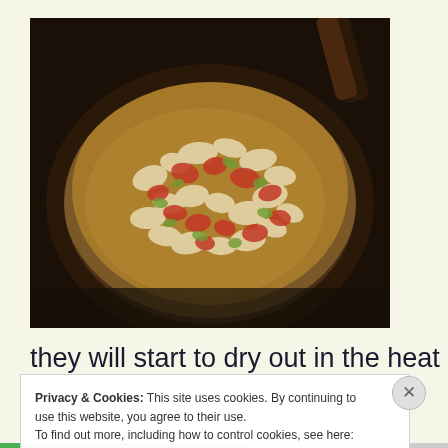[Figure (photo): A wok or pan on a stove with chopped onions, green peppers, and red tomatoes being sautéed, with a dark wooden/black spoon or spatula visible at the top.]
they will start to dry out in the heat (crush
Privacy & Cookies: This site uses cookies. By continuing to use this website, you agree to their use.
To find out more, including how to control cookies, see here: Cookie Policy
Close and accept